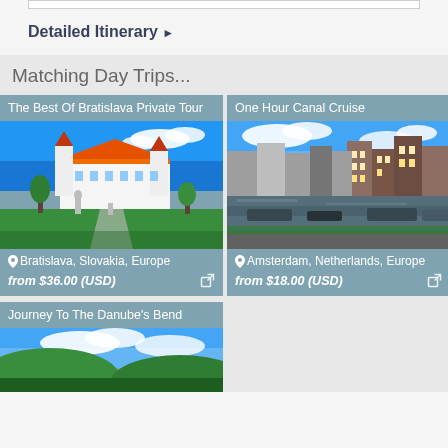Detailed Itinerary ▶
Matching Day Trips...
[Figure (photo): Bratislava Castle with white walls and orange roof, green gardens, statues in foreground, blue sky]
The Best Of Bratislava Private Tour
📍 Bratislava, Slovakia, Europe
from $36.00 (USD)
[Figure (photo): Amsterdam canal with colorful row houses, boats moored along the canal, blue sky with clouds]
One Hour Canal Cruise
📍 Amsterdam, Netherlands, Europe
from $18.00 (USD)
[Figure (photo): Danube's Bend scenic view with blue sky and landscape]
Journey To The Danube's Bend